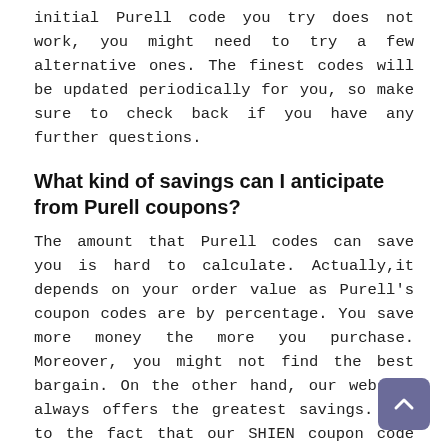initial Purell code you try does not work, you might need to try a few alternative ones. The finest codes will be updated periodically for you, so make sure to check back if you have any further questions.
What kind of savings can I anticipate from Purell coupons?
The amount that Purell codes can save you is hard to calculate. Actually,it depends on your order value as Purell's coupon codes are by percentage. You save more money the more you purchase. Moreover, you might not find the best bargain. On the other hand, our website always offers the greatest savings. Due to the fact that our SHIEN coupon code is the most accurate and practical. To save you time and effort, we will recommend the finest offers to you in the most efficient order.
What kind of deal does Purell offer?